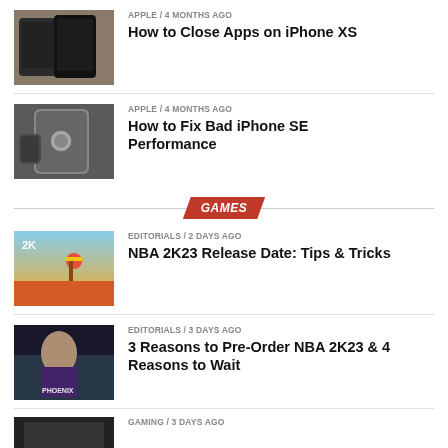[Figure (photo): Two iPhone XS devices side by side on a wooden surface]
APPLE / 4 months ago
How to Close Apps on iPhone XS
[Figure (photo): Hand holding silver iPhone SE from the back showing Apple logo]
APPLE / 4 months ago
How to Fix Bad iPhone SE Performance
GAMES
[Figure (photo): NBA 2K23 game cover art showing basketball player]
EDITORIALS / 2 days ago
NBA 2K23 Release Date: Tips & Tricks
[Figure (photo): NBA 2K23 player in Phoenix Suns uniform]
EDITORIALS / 3 days ago
3 Reasons to Pre-Order NBA 2K23 & 4 Reasons to Wait
[Figure (photo): Gaming related thumbnail]
GAMING / 3 days ago